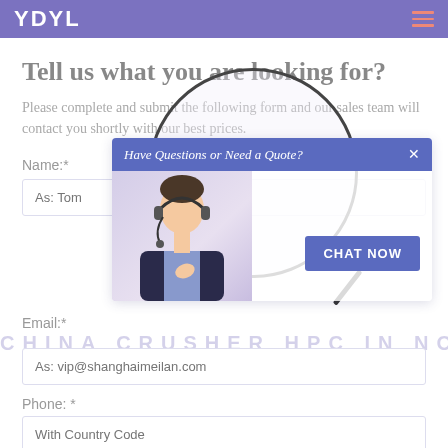YDYL
Tell us what you are looking for?
Please complete and submit the following form and our sales team will contact you shortly with our best prices.
Name:*
As: Tom
[Figure (other): Chat popup overlay with agent photo, header 'Have Questions or Need a Quote?', close button, and 'CHAT NOW' button]
Email:*
As: vip@shanghaimeilan.com
CHINA CRUSHER HPC IN NORWAY
Phone:*
With Country Code